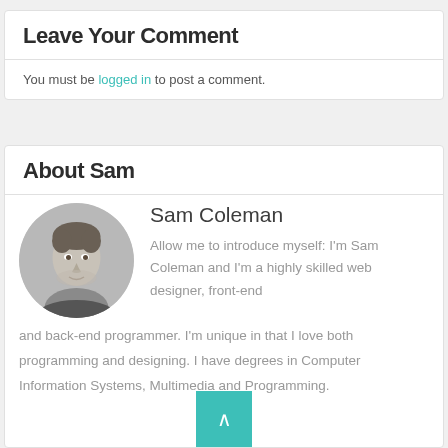Leave Your Comment
You must be logged in to post a comment.
About Sam
[Figure (photo): Circular black-and-white headshot photo of Sam Coleman, a man in a dark shirt]
Sam Coleman
Allow me to introduce myself: I'm Sam Coleman and I'm a highly skilled web designer, front-end and back-end programmer. I'm unique in that I love both programming and designing. I have degrees in Computer Information Systems, Multimedia and Programming.